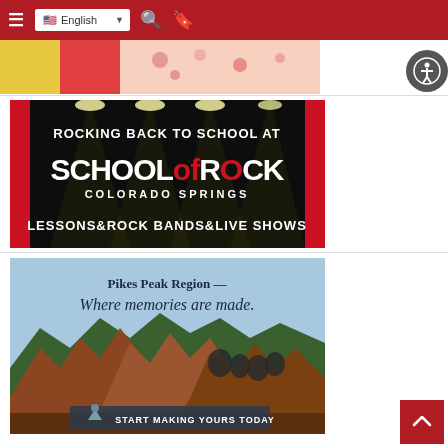Navigation bar with hamburger menu, English language selector, search icon, bookmark icon
[Figure (photo): Partial view of a colorful image strip showing holiday/celebration items]
[Figure (photo): School of Rock Colorado Springs advertisement: 'ROCKING BACK TO SCHOOL AT SCHOOL OF ROCK COLORADO SPRINGS — LESSONS / ROCK BANDS / LIVE SHOWS']
[Figure (photo): Pikes Peak Region tourism advertisement: 'Pikes Peak Region — Where memories are made.' showing red rock formations and people sitting on rocks. Button: 'START MAKING YOURS TODAY']
[Figure (illustration): Accessibility icon button (person with circle)]
[Figure (illustration): Scroll to top button with upward arrow]